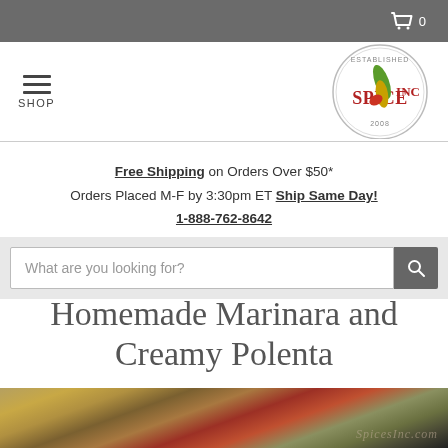0 (cart)
SHOP / Spices Inc logo
Free Shipping on Orders Over $50*
Orders Placed M-F by 3:30pm ET Ship Same Day!
1-888-762-8642
What are you looking for?
Homemade Marinara and Creamy Polenta
[Figure (photo): Close-up photo of homemade marinara and creamy polenta dish with SpicesInc.com watermark]